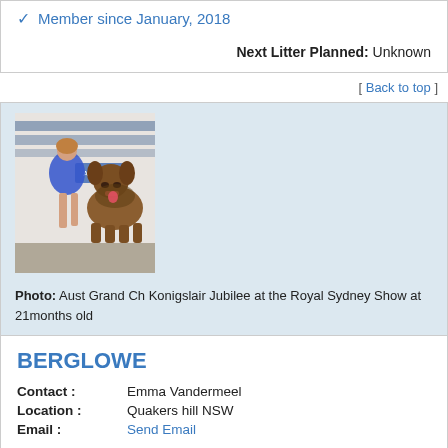Member since January, 2018
Next Litter Planned: Unknown
[ Back to top ]
[Figure (photo): Woman in blue dress posing with a large Leonberger dog at the Royal Sydney Show, ADVANCE branding in background]
Photo: Aust Grand Ch Konigslair Jubilee at the Royal Sydney Show at 21months old
BERGLOWE
Contact : Emma Vandermeel
Location : Quakers hill NSW